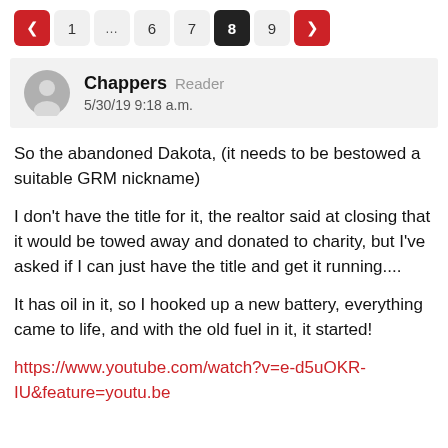Pagination: < 1 ... 6 7 8 9 >
Chappers  Reader
5/30/19 9:18 a.m.
So the abandoned Dakota, (it needs to be bestowed a suitable GRM nickname)
I don't have the title for it, the realtor said at closing that it would be towed away and donated to charity, but I've asked if I can just have the title and get it running....
It has oil in it, so I hooked up a new battery, everything came to life, and with the old fuel in it, it started!
https://www.youtube.com/watch?v=e-d5uOKR-IU&feature=youtu.be